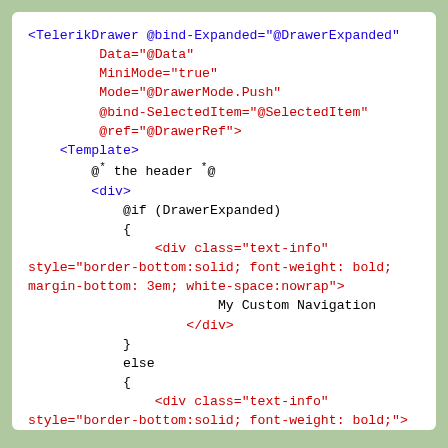[Figure (screenshot): A code snippet showing Blazor/Razor markup for a TelerikDrawer component with template, conditional rendering of custom navigation div elements, displayed with blue and red syntax coloring on a white background with green border.]